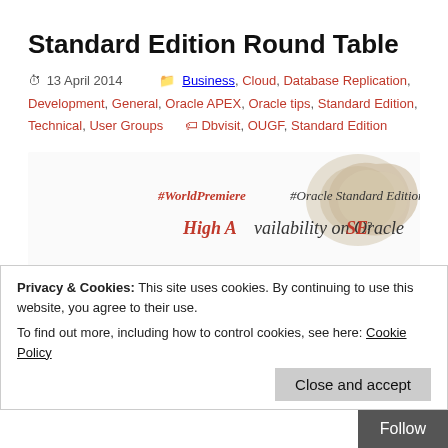Standard Edition Round Table
13 April 2014   Business, Cloud, Database Replication, Development, General, Oracle APEX, Oracle tips, Standard Edition, Technical, User Groups   Dbvisit, OUGF, Standard Edition
[Figure (illustration): Promotional image for #WorldPremiere #Oracle Standard Edition Round Table event, showing 'High Availability on Oracle SE?' and 'Hope to See You there!' text in decorative script with a coffee cup splash graphic.]
Privacy & Cookies: This site uses cookies. By continuing to use this website, you agree to their use. To find out more, including how to control cookies, see here: Cookie Policy
Close and accept
Follow